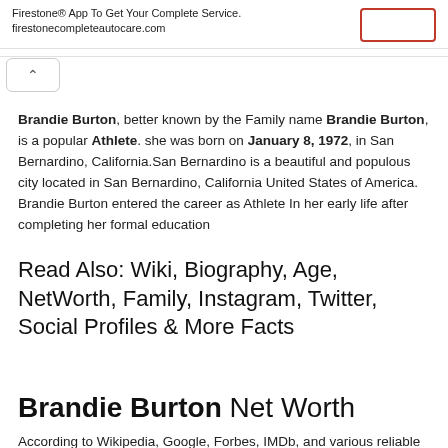Firestone® App To Get Your Complete Service. firestonecompleteautocare.com
Brandie Burton, better known by the Family name Brandie Burton, is a popular Athlete. she was born on January 8, 1972, in San Bernardino, California.San Bernardino is a beautiful and populous city located in San Bernardino, California United States of America. Brandie Burton entered the career as Athlete In her early life after completing her formal education
Read Also: Wiki, Biography, Age, NetWorth, Family, Instagram, Twitter, Social Profiles & More Facts
Brandie Burton Net Worth
According to Wikipedia, Google, Forbes, IMDb, and various reliable